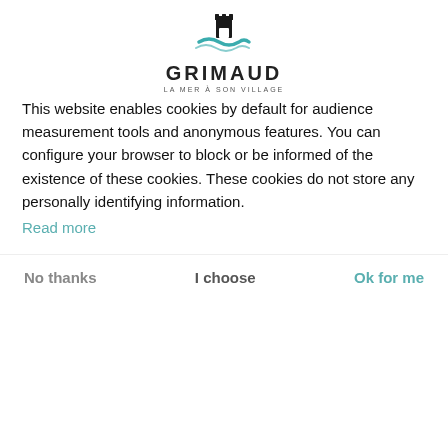[Figure (logo): Grimaud town logo with castle tower icon and teal wave element. Text reads GRIMAUD and LA MER À SON VILLAGE below.]
[Figure (photo): Interior of a bakery/pastry display case showing various pastries, with a chalkboard sign reading SABLÉS and a button showing See photos (8).]
Cookie preference management
This website enables cookies by default for audience measurement tools and anonymous features. You can configure your browser to block or be informed of the existence of these cookies. These cookies do not store any personally identifying information.
Read more
No thanks   I choose   Ok for me